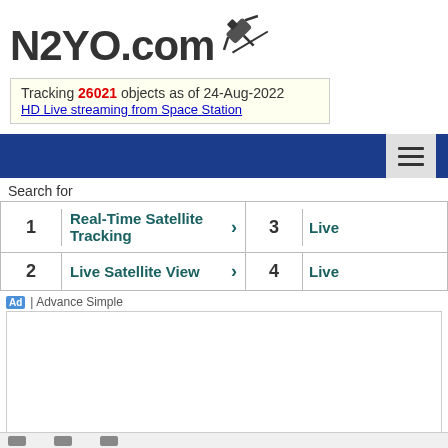N2YO.com
Tracking 26021 objects as of 24-Aug-2022
HD Live streaming from Space Station
[Figure (screenshot): Blue navigation bar with hamburger menu icon on right]
Search for
| 1 | Real-Time Satellite Tracking | > | 3 | Live |
| 2 | Live Satellite View | > | 4 | Live |
Ad | Advance Simple
[Figure (other): Empty white advertisement content box]